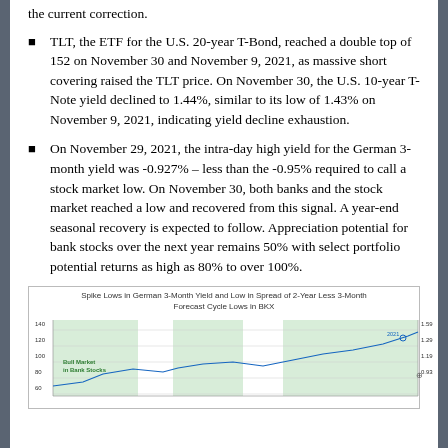TLT, the ETF for the U.S. 20-year T-Bond, reached a double top of 152 on November 30 and November 9, 2021, as massive short covering raised the TLT price. On November 30, the U.S. 10-year T-Note yield declined to 1.44%, similar to its low of 1.43% on November 9, 2021, indicating yield decline exhaustion.
On November 29, 2021, the intra-day high yield for the German 3-month yield was -0.927% – less than the -0.95% required to call a stock market low. On November 30, both banks and the stock market reached a low and recovered from this signal. A year-end seasonal recovery is expected to follow. Appreciation potential for bank stocks over the next year remains 50% with select portfolio potential returns as high as 80% to over 100%.
[Figure (continuous-plot): A partially visible area chart showing spike lows in German 3-Month Yield and low in spread of 2-Year less 3-Month, with forecast cycle lows in BKX. The chart has two y-axes and shows green shaded area regions. Labels include 'Bull Market in Bank Stocks'. Y-axis left values around 80-140, right axis values around 0.93-1.59.]